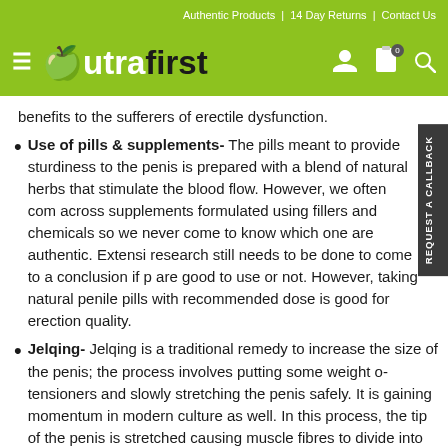Authentic Products | 14 Day Returns | Contact Us
[Figure (logo): NutraFirst logo with hamburger menu icon and navigation icons (user, cart with badge 0, search)]
benefits to the sufferers of erectile dysfunction.
Use of pills & supplements- The pills meant to provide sturdiness to the penis is prepared with a blend of natural herbs that stimulate the blood flow. However, we often come across supplements formulated using fillers and chemicals so we never come to know which one are authentic. Extensive research still needs to be done to come to a conclusion if pills are good to use or not. However, taking natural penile pills with recommended dose is good for erection quality.
Jelqing- Jelqing is a traditional remedy to increase the size of the penis; the process involves putting some weight on tensioners and slowly stretching the penis safely. It is gaining momentum in modern culture as well. In this process, the tip of the penis is stretched causing muscle fibres to divide into two, the same logic which is used in bodybuilding. This remedy is not that effective but some men still use it. If the penis got bigger using such method then the size would be in fact by the time you reach in your 18. Still, people still